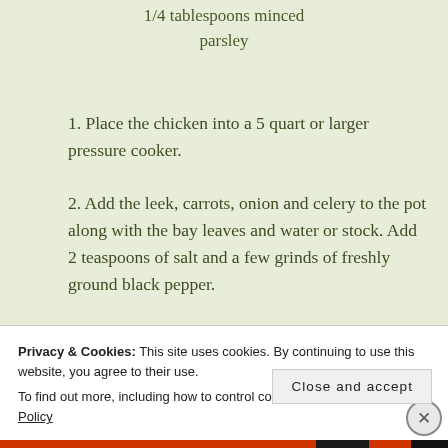1/4 tablespoons minced parsley
1. Place the chicken into a 5 quart or larger pressure cooker.
2. Add the leek, carrots, onion and celery to the pot along with the bay leaves and water or stock. Add 2 teaspoons of salt and a few grinds of freshly ground black pepper.
3. Place the pot over high heat
Privacy & Cookies: This site uses cookies. By continuing to use this website, you agree to their use.
To find out more, including how to control cookies, see here: Cookie Policy
Close and accept